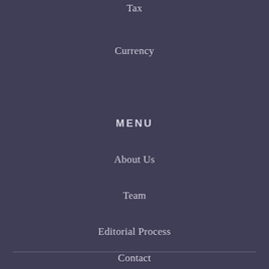Tax
Currency
MENU
About Us
Team
Editorial Process
Contact